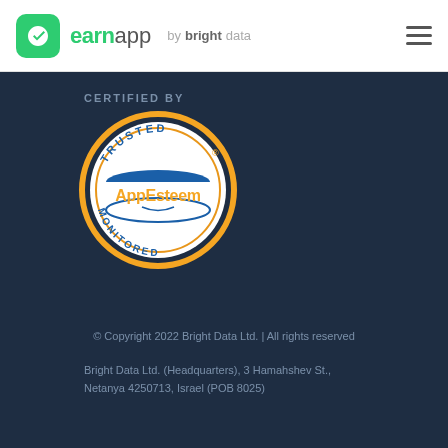earnapp by bright data
CERTIFIED BY
[Figure (logo): AppEsteem Trusted Monitored certification badge - circular orange-bordered seal with 'TRUSTED' text at top, 'MONITORED' text at bottom, and 'AppEsteem' in orange text in the center white banner area]
© Copyright 2022 Bright Data Ltd. | All rights reserved
Bright Data Ltd. (Headquarters), 3 Hamahshev St., Netanya 4250713, Israel (POB 8025)